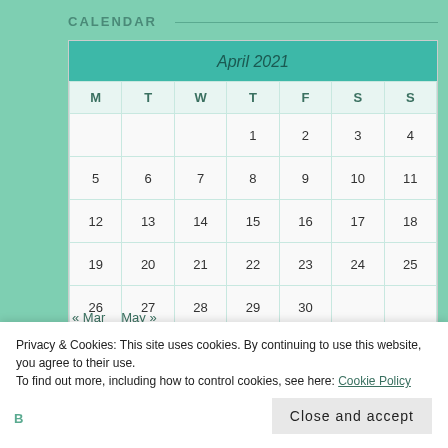CALENDAR
| M | T | W | T | F | S | S |
| --- | --- | --- | --- | --- | --- | --- |
|  |  |  | 1 | 2 | 3 | 4 |
| 5 | 6 | 7 | 8 | 9 | 10 | 11 |
| 12 | 13 | 14 | 15 | 16 | 17 | 18 |
| 19 | 20 | 21 | 22 | 23 | 24 | 25 |
| 26 | 27 | 28 | 29 | 30 |  |  |
« Mar   May »
Privacy & Cookies: This site uses cookies. By continuing to use this website, you agree to their use.
To find out more, including how to control cookies, see here: Cookie Policy
Close and accept